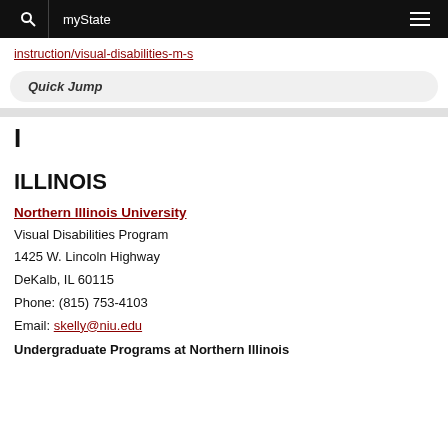myState
instruction/visual-disabilities-m-s
Quick Jump
I
ILLINOIS
Northern Illinois University
Visual Disabilities Program
1425 W. Lincoln Highway
DeKalb, IL 60115
Phone: (815) 753-4103
Email: skelly@niu.edu
Undergraduate Programs at Northern Illinois